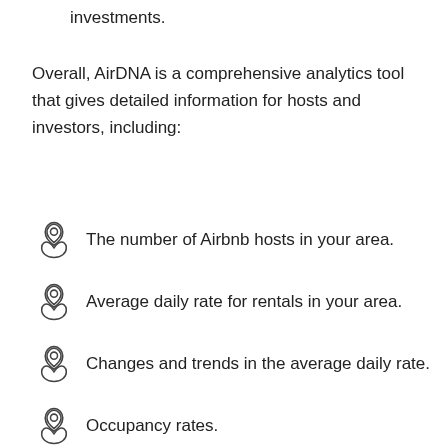investments.
Overall, AirDNA is a comprehensive analytics tool that gives detailed information for hosts and investors, including:
The number of Airbnb hosts in your area.
Average daily rate for rentals in your area.
Changes and trends in the average daily rate.
Occupancy rates.